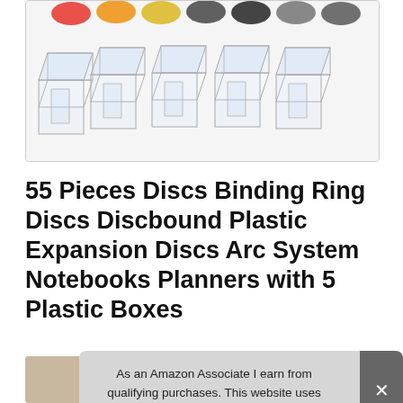[Figure (photo): Product image showing 5 clear plastic storage box organizers arranged in a row, with colorful ring discs visible at the top of the image]
55 Pieces Discs Binding Ring Discs Discbound Plastic Expansion Discs Arc System Notebooks Planners with 5 Plastic Boxes
#ad
As an Amazon Associate I earn from qualifying purchases. This website uses the only necessary cookies to ensure you get the best experience on our website. More information
[Figure (photo): Row of thumbnail product images at the bottom of the page]